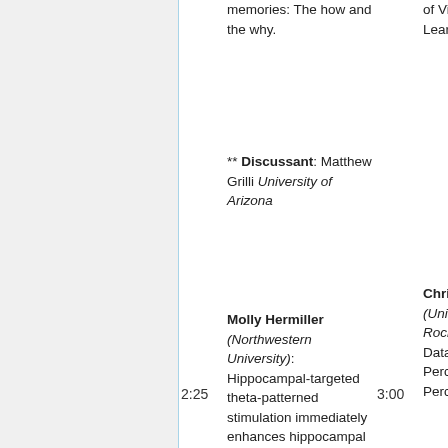memories: The how and the why.
** Discussant: Matthew Grilli University of Arizona
Molly Hermiller (Northwestern University): Hippocampal-targeted theta-patterned stimulation immediately enhances hippocampal memory processing: A simultaneous
of Visual Statistical Learning.
2:25
3:00
Chris Bates (University of Rochester): Efficient Data Compression Perception and Perceptual Memory.